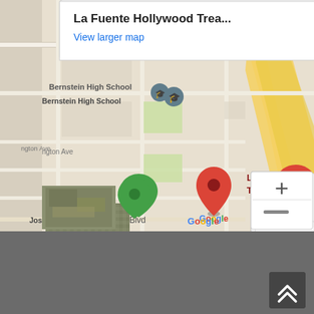[Figure (map): Google Maps screenshot showing La Fuente Hollywood Treatment Center location near Bernstein High School and Joseph Le Conte Middle School. Red pin marks the treatment center location. Includes zoom controls and Google logo. Popup tooltip reads 'La Fuente Hollywood Trea...' with 'View larger map' link.]
[Figure (logo): CARF Accredited circular logo with text 'ASPIRE to Excellence' around the border and 'carf ACCREDITED' in the center, teal/blue color scheme with star decorations.]
[Figure (other): Back to top button - dark gray square with double upward chevron arrows in white.]